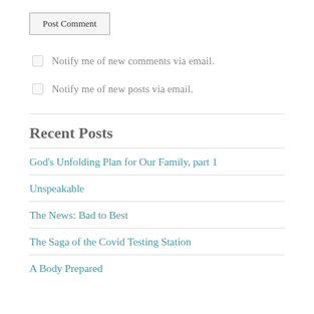Post Comment
Notify me of new comments via email.
Notify me of new posts via email.
Recent Posts
God's Unfolding Plan for Our Family, part 1
Unspeakable
The News: Bad to Best
The Saga of the Covid Testing Station
A Body Prepared